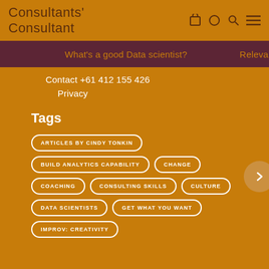Consultants' Consultant
What's a good Data scientist?   Relevant
Contact +61 412 155 426
Privacy
Tags
ARTICLES BY CINDY TONKIN
BUILD ANALYTICS CAPABILITY
CHANGE
COACHING
CONSULTING SKILLS
CULTURE
DATA SCIENTISTS
GET WHAT YOU WANT
IMPROV: CREATIVITY